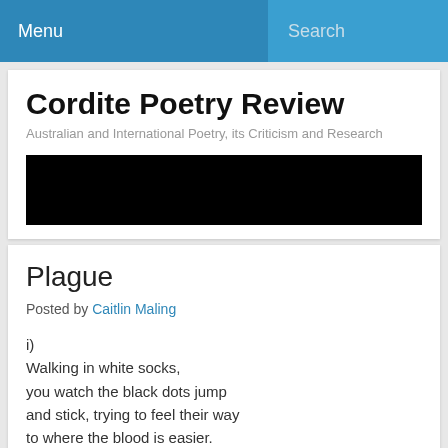Menu   Search
Cordite Poetry Review
Australian and International Poetry, its Criticism and Research
[Figure (other): Black banner/image area]
Plague
Posted by Caitlin Maling
i)
Walking in white socks,
you watch the black dots jump
and stick, trying to feel their way
to where the blood is easier.
Somehow they don’t sting
and pinching them doesn’t crack,
instead your blood is there